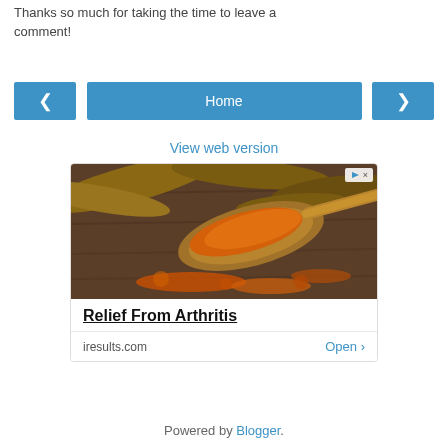Thanks so much for taking the time to leave a comment!
[Figure (screenshot): Navigation buttons: left arrow, Home button, right arrow]
View web version
[Figure (photo): Advertisement showing turmeric root and powder with a wooden spoon. Title: Relief From Arthritis. Domain: iresults.com, with Open button.]
Powered by Blogger.